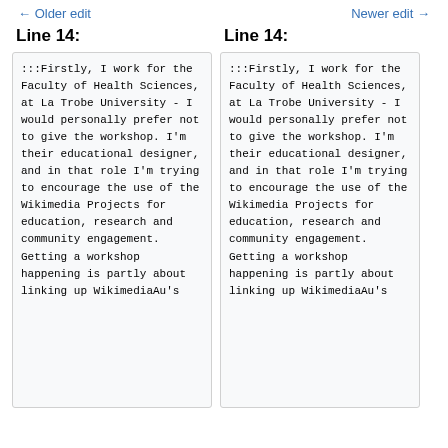← Older edit   Newer edit →
Line 14:
:::Firstly, I work for the Faculty of Health Sciences, at La Trobe University - I would personally prefer not to give the workshop. I'm their educational designer, and in that role I'm trying to encourage the use of the Wikimedia Projects for education, research and community engagement. Getting a workshop happening is partly about linking up WikimediaAu's
Line 14:
:::Firstly, I work for the Faculty of Health Sciences, at La Trobe University - I would personally prefer not to give the workshop. I'm their educational designer, and in that role I'm trying to encourage the use of the Wikimedia Projects for education, research and community engagement. Getting a workshop happening is partly about linking up WikimediaAu's